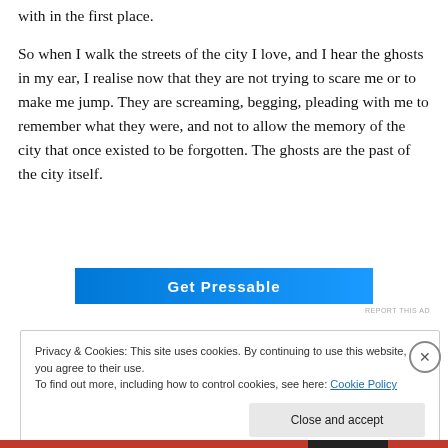with in the first place.
So when I walk the streets of the city I love, and I hear the ghosts in my ear, I realise now that they are not trying to scare me or to make me jump. They are screaming, begging, pleading with me to remember what they were, and not to allow the memory of the city that once existed to be forgotten. The ghosts are the past of the city itself.
[Figure (other): Advertisement banner for Pressable in blue]
REPORT THIS AD
Privacy & Cookies: This site uses cookies. By continuing to use this website, you agree to their use.
To find out more, including how to control cookies, see here: Cookie Policy
Close and accept